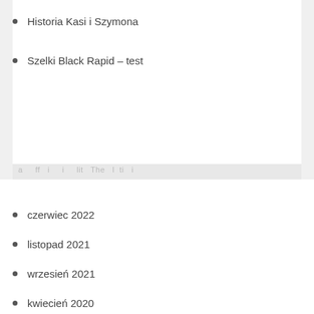Historia Kasi i Szymona
Szelki Black Rapid – test
czerwiec 2022
listopad 2021
wrzesień 2021
kwiecień 2020